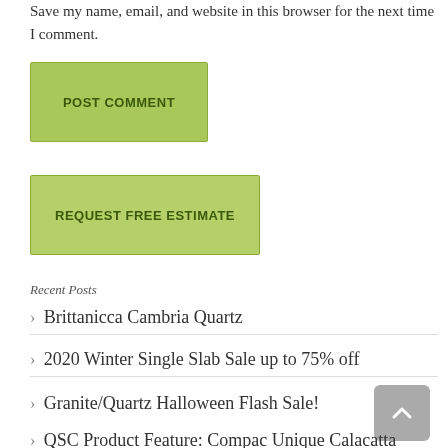Save my name, email, and website in this browser for the next time I comment.
[Figure (other): Green POST COMMENT button]
[Figure (other): Green REQUEST FREE ESTIMATE button]
Recent Posts
Brittanicca Cambria Quartz
2020 Winter Single Slab Sale up to 75% off
Granite/Quartz Halloween Flash Sale!
QSC Product Feature: Compac Unique Calacatta